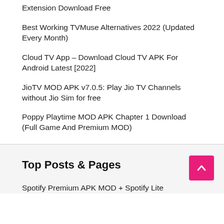Extension Download Free
Best Working TVMuse Alternatives 2022 (Updated Every Month)
Cloud TV App – Download Cloud TV APK For Android Latest [2022]
JioTV MOD APK v7.0.5: Play Jio TV Channels without Jio Sim for free
Poppy Playtime MOD APK Chapter 1 Download (Full Game And Premium MOD)
Top Posts & Pages
Spotify Premium APK MOD + Spotify Lite